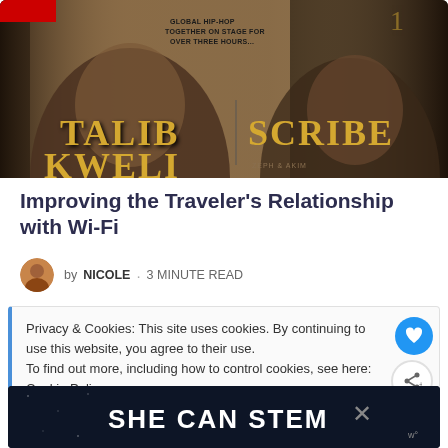[Figure (photo): Album cover or concert poster featuring Talib Kweli and Scribe, showing two faces with text 'GLOBAL HIP-HOP TOGETHER ON STAGE FOR OVER THREE HOURS...' and names TALIB KWELI and SCRIBE in large gold letters]
Improving the Traveler's Relationship with Wi-Fi
by NICOLE · 3 MINUTE READ
Privacy & Cookies: This site uses cookies. By continuing to use this website, you agree to their use.
To find out more, including how to control cookies, see here:
Cookie Policy
[Figure (photo): Advertisement banner with dark background reading 'SHE CAN STEM' in large white bold text]